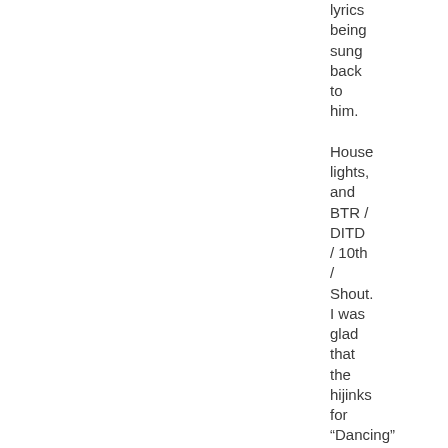lyrics being sung back to him.

House lights, and BTR / DITD / 10th / Shout. I was glad that the hijinks for “Dancing” were capped to one